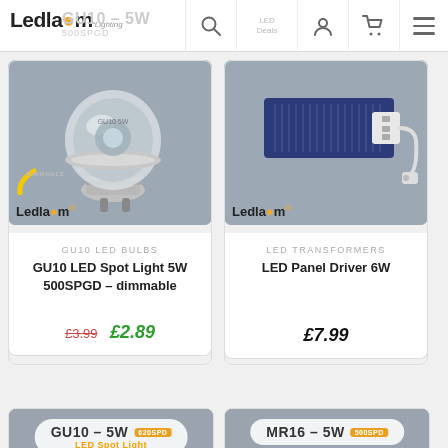Ledlam Lighting — GU10 – 5W
[Figure (photo): GU10 LED Spot Light 5W 500SPGD dimmable product photo with Ledlam branding on grey background]
GU10 LED BULBS
GU10 LED Spot Light 5W 500SPGD – dimmable
£3.99  £2.89
[Figure (photo): LED Panel Driver 6W product photo showing white rectangular driver unit on grey background with Ledlam branding]
LED TRANSFORMERS
LED Panel Driver 6W
£7.99
[Figure (photo): GU10 – 5W 620SPD LED Spot Light product card partially visible]
[Figure (photo): MR16 – 5W 500SPD product card partially visible]